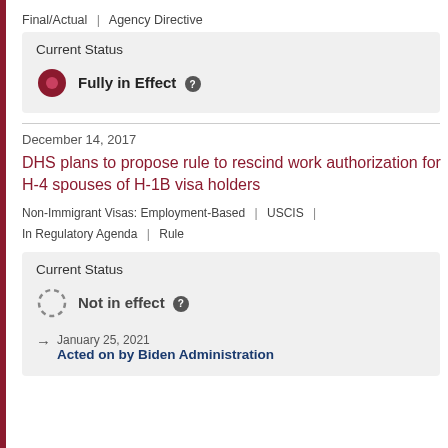Final/Actual | Agency Directive
Current Status
Fully in Effect
December 14, 2017
DHS plans to propose rule to rescind work authorization for H-4 spouses of H-1B visa holders
Non-Immigrant Visas: Employment-Based | USCIS | In Regulatory Agenda | Rule
Current Status
Not in effect
January 25, 2021 Acted on by Biden Administration